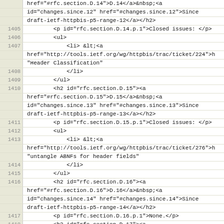Code listing lines 1404-1421 showing HTML/XML source code with line numbers
| line | code |
| --- | --- |
|  | href="#rfc.section.D.14">D.14</a>&nbsp;<a |
|  | id="changes.since.12" href="#changes.since.12">Since |
|  | draft-ietf-httpbis-p5-range-12</a></h2> |
| 1405 |     <p id="rfc.section.D.14.p.1">Closed issues: </p> |
| 1406 |     <ul> |
| 1407 |         <li> &lt;<a |
|  | href="http://tools.ietf.org/wg/httpbis/trac/ticket/224">h |
|  | "Header Classification" |
| 1408 |             </li> |
| 1409 |         </ul> |
| 1410 |         <h2 id="rfc.section.D.15"><a |
|  | href="#rfc.section.D.15">D.15</a>&nbsp;<a |
|  | id="changes.since.13" href="#changes.since.13">Since |
|  | draft-ietf-httpbis-p5-range-13</a></h2> |
| 1411 |         <p id="rfc.section.D.15.p.1">Closed issues: </p> |
| 1412 |         <ul> |
| 1413 |             <li> &lt;<a |
|  | href="http://tools.ietf.org/wg/httpbis/trac/ticket/276">h |
|  | "untangle ABNFs for header fields" |
| 1414 |             </li> |
| 1415 |         </ul> |
| 1416 |         <h2 id="rfc.section.D.16"><a |
|  | href="#rfc.section.D.16">D.16</a>&nbsp;<a |
|  | id="changes.since.14" href="#changes.since.14">Since |
|  | draft-ietf-httpbis-p5-range-14</a></h2> |
| 1417 |         <p id="rfc.section.D.16.p.1">None.</p> |
| 1418 |         <h2 id="rfc.section.D.17"><a |
|  | href="#rfc.section.D.17">D.17</a>&nbsp;<a |
|  | id="changes.since.15" href="#changes.since.15">Since |
|  | draft-ietf-httpbis-p5-range-15</a></h2> |
| 1419 |         <p id="rfc.section.D.17.p.1">Closed issues: </p> |
| 1420 |         <ul> |
| 1421 |             <li> &lt;<a |
|  | href="http://trac.tools.ietf.org/wg/httpbis/trac/ticket/1 |
|  | "... |